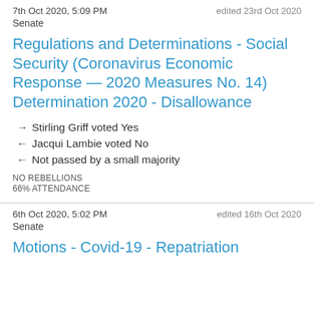7th Oct 2020, 5:09 PM | edited 23rd Oct 2020
Senate
Regulations and Determinations - Social Security (Coronavirus Economic Response — 2020 Measures No. 14) Determination 2020 - Disallowance
→ Stirling Griff voted Yes
← Jacqui Lambie voted No
← Not passed by a small majority
NO REBELLIONS
66% ATTENDANCE
6th Oct 2020, 5:02 PM | edited 16th Oct 2020
Senate
Motions - Covid-19 - Repatriation